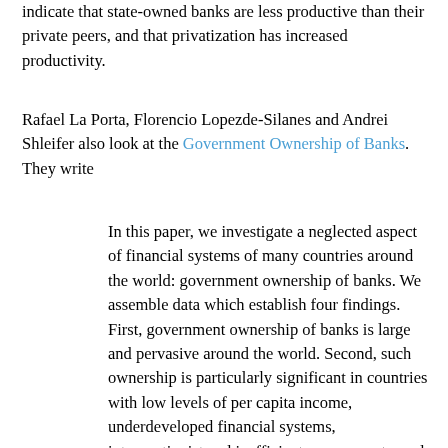indicate that state-owned banks are less productive than their private peers, and that privatization has increased productivity.
Rafael La Porta, Florencio Lopezde-Silanes and Andrei Shleifer also look at the Government Ownership of Banks. They write
In this paper, we investigate a neglected aspect of financial systems of many countries around the world: government ownership of banks. We assemble data which establish four findings. First, government ownership of banks is large and pervasive around the world. Second, such ownership is particularly significant in countries with low levels of per capita income, underdeveloped financial systems, interventionist and inefficient governments, and poor protection of property rights. Third, government ownership of banks is associated with slower subsequent financial development. Finally, government ownership of banks is associated with lower subsequent growth of per capita income, and in